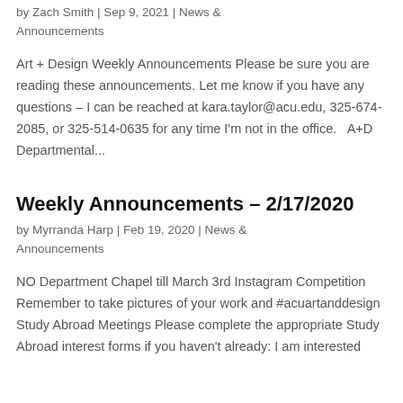by Zach Smith | Sep 9, 2021 | News & Announcements
Art + Design Weekly Announcements Please be sure you are reading these announcements. Let me know if you have any questions – I can be reached at kara.taylor@acu.edu, 325-674-2085, or 325-514-0635 for any time I'm not in the office.   A+D Departmental...
Weekly Announcements – 2/17/2020
by Myrranda Harp | Feb 19, 2020 | News & Announcements
NO Department Chapel till March 3rd Instagram Competition Remember to take pictures of your work and #acuartanddesign Study Abroad Meetings Please complete the appropriate Study Abroad interest forms if you haven't already: I am interested